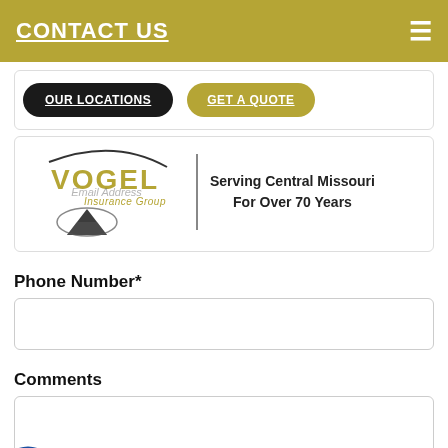CONTACT US
OUR LOCATIONS
GET A QUOTE
[Figure (logo): Vogel Insurance Group logo with swoosh and triangle graphic, overlaid with faint 'Email Address' watermark text. Tagline: Serving Central Missouri For Over 70 Years]
Phone Number*
Comments